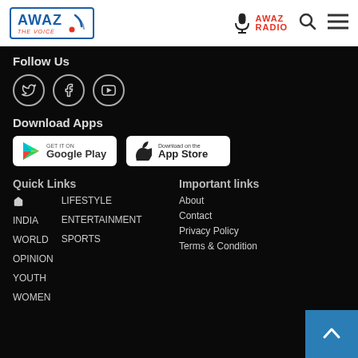[Figure (logo): AWAZ The Voice logo with blue border and red dot, and AWAZ RADIO with microphone icon on the right side header]
Follow Us
[Figure (illustration): Three social media icons in circles: Twitter, Facebook, YouTube]
Download Apps
[Figure (illustration): Google Play and App Store download buttons]
Quick Links
Important links
🏠 (home icon)
LIFESTYLE
About
INDIA
ENTERTAINMENT
Contact
WORLD
SPORTS
Privacy Policy
OPINION
Terms & Condition
YOUTH
WOMEN